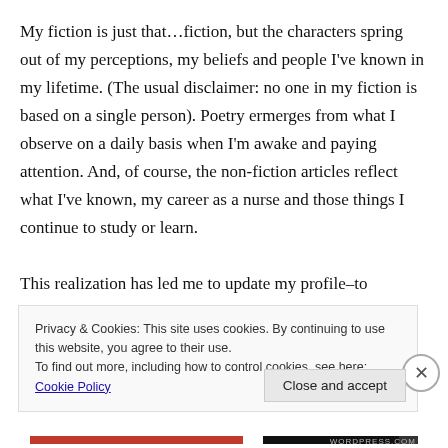My fiction is just that…fiction, but the characters spring out of my perceptions, my beliefs and people I've known in my lifetime. (The usual disclaimer: no one in my fiction is based on a single person). Poetry ermerges from what I observe on a daily basis when I'm awake and paying attention. And, of course, the non-fiction articles reflect what I've known, my career as a nurse and those things I continue to study or learn.

This realization has led me to update my profile–to acknowledge where I've been that's led to what I write.
Privacy & Cookies: This site uses cookies. By continuing to use this website, you agree to their use.
To find out more, including how to control cookies, see here: Cookie Policy